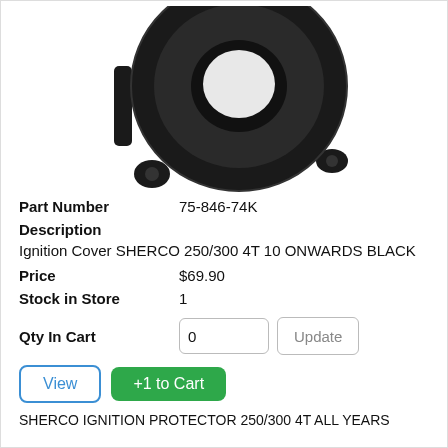[Figure (photo): Black ignition cover with circular ring shape with mounting holes, viewed from front, for SHERCO 250/300 4T]
Part Number   75-846-74K
Description
Ignition Cover SHERCO 250/300 4T 10 ONWARDS BLACK
Price   $69.90
Stock in Store   1
Qty In Cart   0   Update
View   +1 to Cart
SHERCO IGNITION PROTECTOR 250/300 4T ALL YEARS